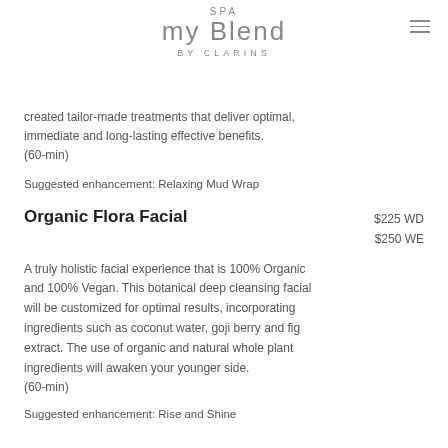SPA MY BLEND BY CLARINS
created tailor-made treatments that deliver optimal, immediate and long-lasting effective benefits. (60-min)
Suggested enhancement: Relaxing Mud Wrap
Organic Flora Facial
$225 WD
$250 WE
A truly holistic facial experience that is 100% Organic and 100% Vegan. This botanical deep cleansing facial will be customized for optimal results, incorporating ingredients such as coconut water, goji berry and fig extract. The use of organic and natural whole plant ingredients will awaken your younger side. (60-min)
Suggested enhancement: Rise and Shine